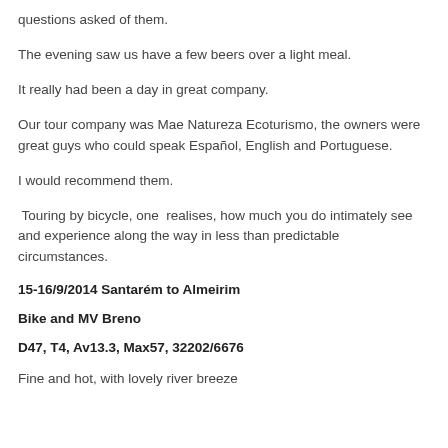questions asked of them.
The evening saw us have a few beers over a light meal.
It really had been a day in great company.
Our tour company was Mae Natureza Ecoturismo, the owners were great guys who could speak Español, English and Portuguese.
I would recommend them.
Touring by bicycle, one  realises, how much you do intimately see and experience along the way in less than predictable circumstances.
15-16/9/2014 Santarém to Almeirim
Bike and MV Breno
D47, T4, Av13.3, Max57, 32202/6676
Fine and hot, with lovely river breeze